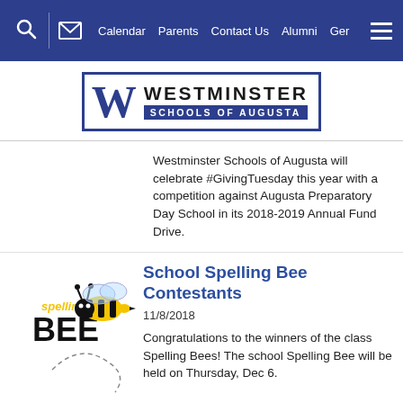Calendar  Parents  Contact Us  Alumni  Ger
[Figure (logo): Westminster Schools of Augusta logo with bold W and blue banner]
Westminster Schools of Augusta will celebrate #GivingTuesday this year with a competition against Augusta Preparatory Day School in its 2018-2019 Annual Fund Drive.
[Figure (illustration): Spelling Bee logo with a cartoon bee and the words 'spelling BEE']
School Spelling Bee Contestants
11/8/2018
Congratulations to the winners of the class Spelling Bees! The school Spelling Bee will be held on Thursday, Dec 6.